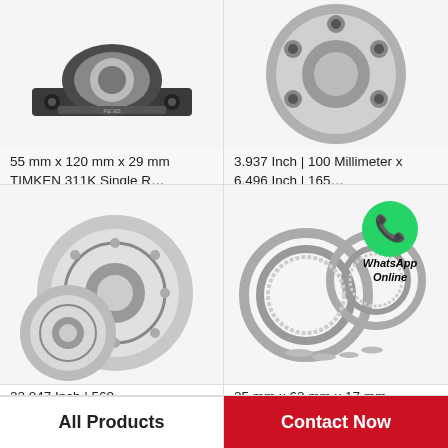[Figure (photo): Pillow block bearing (TIMKEN), top view on white background]
55 mm x 120 mm x 29 mm TIMKEN 311K Single R…
[Figure (photo): Wheel hub bearing, circular flange with bolts, top view on white background]
3.937 Inch | 100 Millimeter x 6.496 Inch | 165…
[Figure (photo): Two angular contact ball bearings, one large and one medium, side view]
22.047 Inch | 560…
[Figure (photo): Thrust bearing components set with needle rollers, washers and rings on white background, with WhatsApp Online badge overlay]
25 mm x 62 mm x 17 mm…
All Products
Contact Now